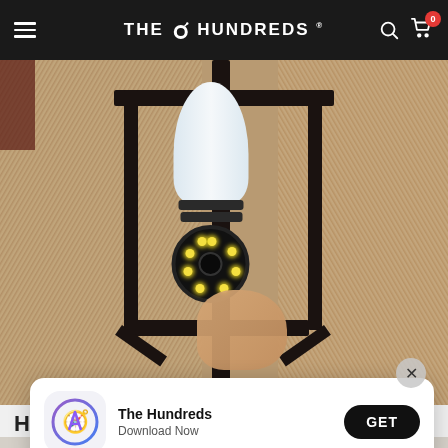THE HUNDREDS — Navigation bar with hamburger menu, logo, search and cart icons
[Figure (photo): Close-up photo of a security camera shaped like a light bulb being installed into a black metal outdoor lantern fixture mounted on a stucco wall. A hand is visible holding/inserting the camera-bulb device which has LED lights on the front lens.]
H T
[Figure (screenshot): App install banner showing The Hundreds app icon (App Store style with compass/A symbol), app name 'The Hundreds', subtitle 'Download Now', and a GET button]
The Hundreds
Download Now